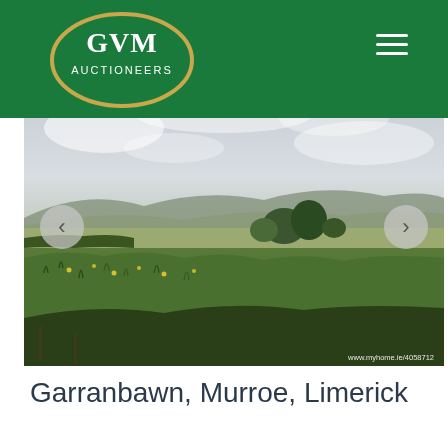[Figure (logo): GVM Auctioneers logo — white text on gold-outlined oval, green background]
[Figure (photo): Landscape photo of open green bogland/fields with scattered shrubs, mountains in the background, overcast sky. Watermark: www.myhome.ie/4058712]
Garranbawn, Murroe, Limerick